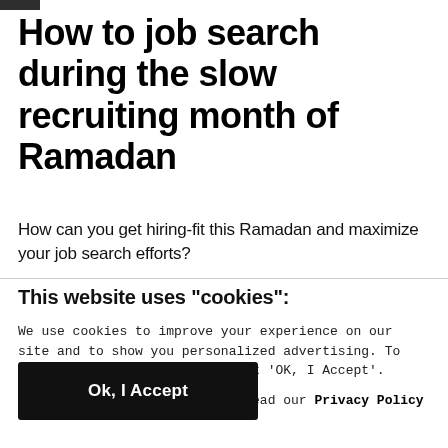How to job search during the slow recruiting month of Ramadan
How can you get hiring-fit this Ramadan and maximize your job search efforts?
This website uses "cookies":
We use cookies to improve your experience on our site and to show you personalized advertising. To continue browsing, please click 'OK, I Accept'.
For more information, please read our Privacy Policy
Ok, I Accept